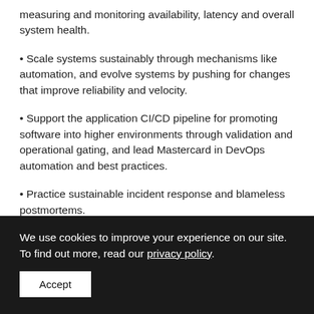measuring and monitoring availability, latency and overall system health.
Scale systems sustainably through mechanisms like automation, and evolve systems by pushing for changes that improve reliability and velocity.
Support the application CI/CD pipeline for promoting software into higher environments through validation and operational gating, and lead Mastercard in DevOps automation and best practices.
Practice sustainable incident response and blameless postmortems.
We use cookies to improve your experience on our site. To find out more, read our privacy policy.
Accept